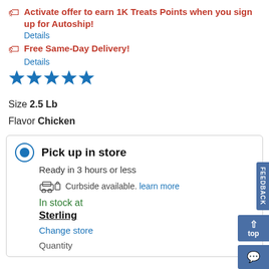Activate offer to earn 1K Treats Points when you sign up for Autoship!
Details
Free Same-Day Delivery!
Details
[Figure (other): Five blue star rating icons]
Size 2.5 Lb
Flavor Chicken
Pick up in store
Ready in 3 hours or less
Curbside available. learn more
In stock at
Sterling
Change store
Quantity